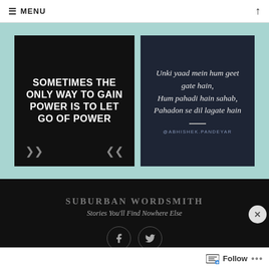≡ MENU
[Figure (screenshot): Black card with white bold uppercase text: SOMETIMES THE ONLY WAY TO GAIN POWER IS TO LET GO OF POWER, with navigation arrows]
[Figure (screenshot): Dark navy card with italic serif text in white: Unki yaad mein hum geet gate hain, Hum pahadi hain sahab, Pahadon se dil lagate hain, with handle @ABHISHEK.PANDEYAR]
SUBURBAN WORDSMITH
Stories You'll Find Nowhere Else
Advertisements
Search, browse, and email with more privacy